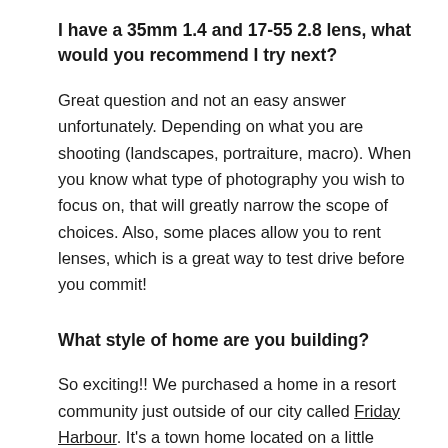I have a 35mm 1.4 and 17-55 2.8 lens, what would you recommend I try next?
Great question and not an easy answer unfortunately. Depending on what you are shooting (landscapes, portraiture, macro). When you know what type of photography you wish to focus on, that will greatly narrow the scope of choices. Also, some places allow you to rent lenses, which is a great way to test drive before you commit!
What style of home are you building?
So exciting!! We purchased a home in a resort community just outside of our city called Friday Harbour. It's a town home located on a little peninsula and we can park our boat in front of our home. Being an outdoorsy family, we are looking forward to all the outdoor amenities this place